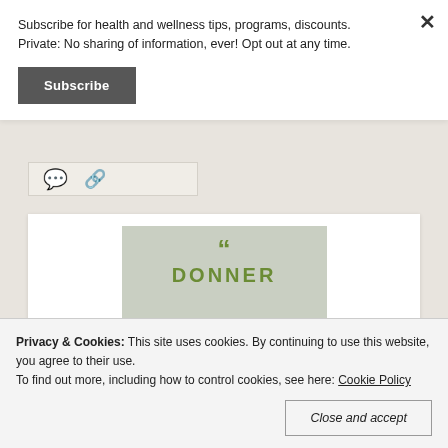Subscribe for health and wellness tips, programs, discounts. Private: No sharing of information, ever! Opt out at any time.
Subscribe
[Figure (screenshot): Social sharing icons row: comment bubble and share/link icon]
[Figure (infographic): Article card with grey-green background image showing large green quotation marks and partial poster text in green uppercase letters, with cursive text 'and in the' at bottom]
Privacy & Cookies: This site uses cookies. By continuing to use this website, you agree to their use. To find out more, including how to control cookies, see here: Cookie Policy
Close and accept